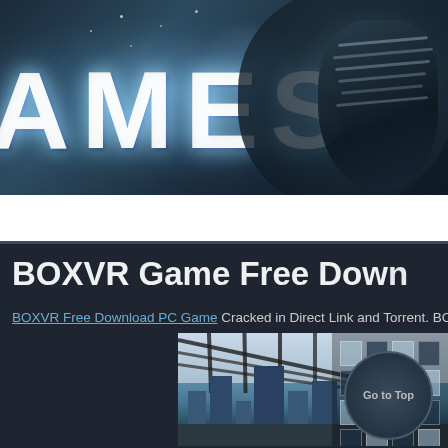[Figure (screenshot): Website header banner with large stylized 'GAMES' text in white on a dark blue atmospheric background with a figure/armor on the right side]
🏠 Home | Categories | Softwares | Step by Step | Vide...
BOXVR Game Free Dow...
BOXVR Free Download PC Game Cracked in Direct Link and Torrent. BOX...
[Figure (screenshot): In-game screenshot of BOXVR showing an indoor space with large windows overlooking a city skyline, with a dark circular Go to Top button overlay]